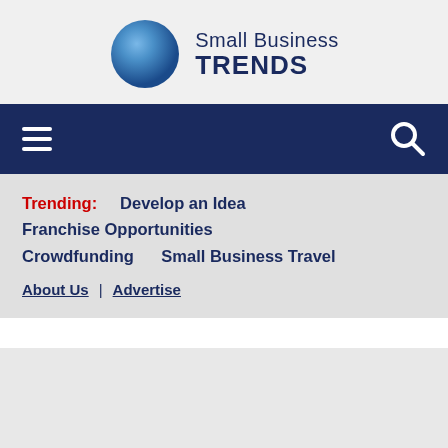[Figure (logo): Small Business Trends logo with blue gradient circle and text 'Small Business TRENDS' in dark navy]
[Figure (screenshot): Dark navy navigation bar with hamburger menu icon on left and search magnifying glass icon on right]
Trending:    Develop an Idea  Franchise Opportunities  Crowdfunding     Small Business Travel
About Us  |  Advertise